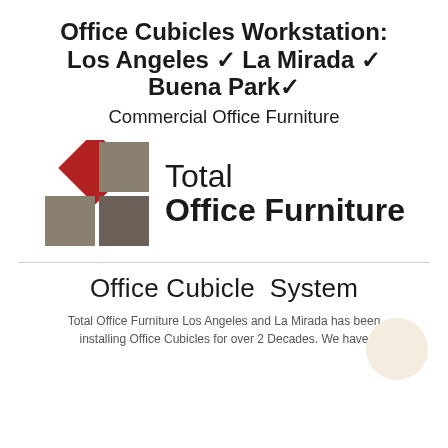Office Cubicles Workstation: Los Angeles ✓ La Mirada ✓ Buena Park✓
Commercial Office Furniture
[Figure (logo): Total Office Furniture logo: red diamond and grey squares icon on left, 'Total Office Furniture' text on right in bold sans-serif]
Office Cubicle System
Total Office Furniture Los Angeles and La Mirada has been installing Office Cubicles for over 2 Decades. We have